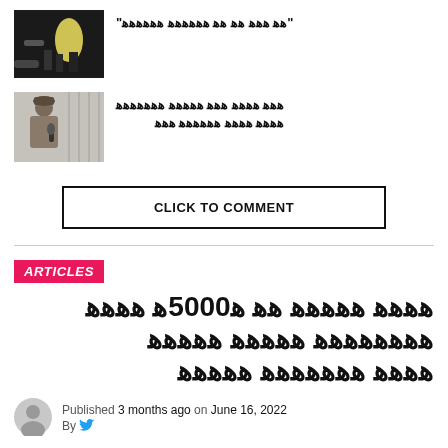[Figure (photo): Dark nighttime outdoor scene with people and bright light]
“■■ ■■■ ■■ ■■ ■■■■■■ ■■■■■■”
[Figure (photo): Person wearing hat and speaking into microphone outdoors]
■■■ ■■■■ ■■■ ■■■■■ ■■■■■■■ ■■■■ ■■■■ ■■■■■■ ■■■
CLICK TO COMMENT
ARTICLES
■■■■ ■■■■■ ■■ ■5000■ ■■■■ ■■■■■■■■ ■■■■■ ■■■■■ ■■■■ ■■■■■■■ ■■■■■
Published 3 months ago on June 16, 2022